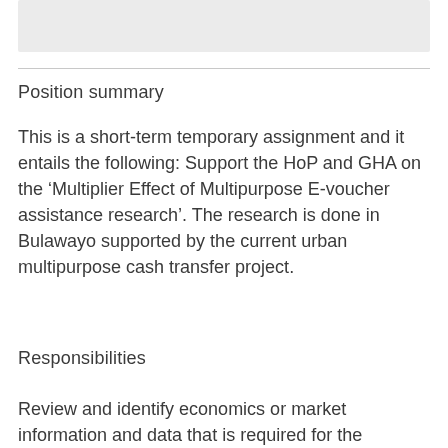[Figure (other): Gray shaded box at the top of the page]
Position summary
This is a short-term temporary assignment and it entails the following: Support the HoP and GHA on the ‘Multiplier Effect of Multipurpose E-voucher assistance research’. The research is done in Bulawayo supported by the current urban multipurpose cash transfer project.
Responsibilities
Review and identify economics or market information and data that is required for the